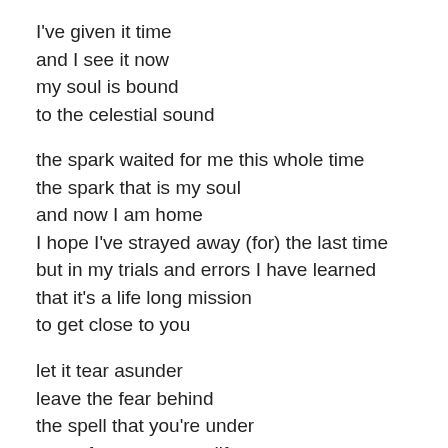I've given it time
and I see it now
my soul is bound
to the celestial sound

the spark waited for me this whole time
the spark that is my soul
and now I am home
I hope I've strayed away (for) the last time
but in my trials and errors I have learned
that it's a life long mission
to get close to you

let it tear asunder
leave the fear behind
the spell that you're under
came from your past life